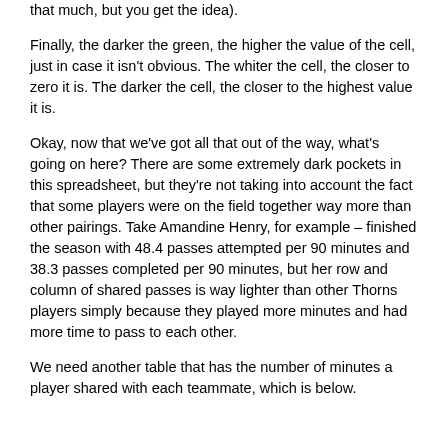forwards usually aren't passing the ball back to their goalie that much, but you get the idea).
Finally, the darker the green, the higher the value of the cell, just in case it isn't obvious. The whiter the cell, the closer to zero it is. The darker the cell, the closer to the highest value it is.
Okay, now that we've got all that out of the way, what's going on here? There are some extremely dark pockets in this spreadsheet, but they're not taking into account the fact that some players were on the field together way more than other pairings. Take Amandine Henry, for example – finished the season with 48.4 passes attempted per 90 minutes and 38.3 passes completed per 90 minutes, but her row and column of shared passes is way lighter than other Thorns players simply because they played more minutes and had more time to pass to each other.
We need another table that has the number of minutes a player shared with each teammate, which is below.